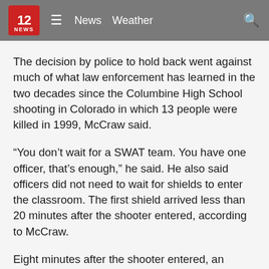12 NEWS  ☰  News  Weather  🔍
The decision by police to hold back went against much of what law enforcement has learned in the two decades since the Columbine High School shooting in Colorado in which 13 people were killed in 1999, McCraw said.
“You don’t wait for a SWAT team. You have one officer, that’s enough,” he said. He also said officers did not need to wait for shields to enter the classroom. The first shield arrived less than 20 minutes after the shooter entered, according to McCraw.
Eight minutes after the shooter entered, an officer reported that police had a heavy-duty crowbar that they could use to break down the classroom door, McCraw said.